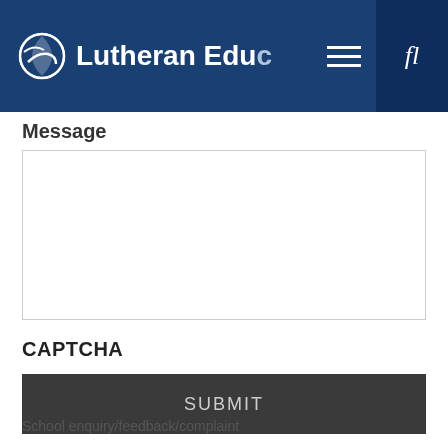[Figure (screenshot): Lutheran Education website navigation bar with logo, hamburger menu icon, and search icon on dark blue background]
Message
[Figure (other): Empty message text area input box with light border]
CAPTCHA
[Figure (other): Dark gray SUBMIT button]
School enquiry/feedback/complaint